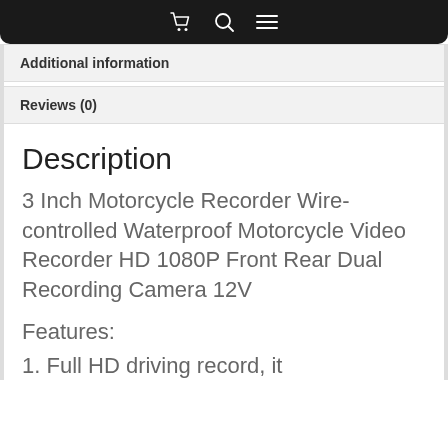Additional information
Reviews (0)
Description
3 Inch Motorcycle Recorder Wire-controlled Waterproof Motorcycle Video Recorder HD 1080P Front Rear Dual Recording Camera 12V
Features:
1. Full HD driving record, it